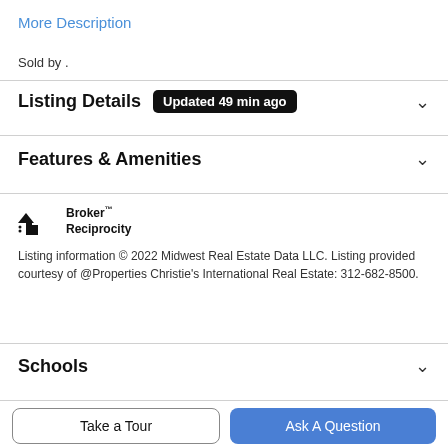More Description
Sold by .
Listing Details  Updated 49 min ago
Features & Amenities
[Figure (logo): Broker Reciprocity logo with house icon]
Listing information © 2022 Midwest Real Estate Data LLC. Listing provided courtesy of @Properties Christie's International Real Estate: 312-682-8500.
Schools
Take a Tour
Ask A Question